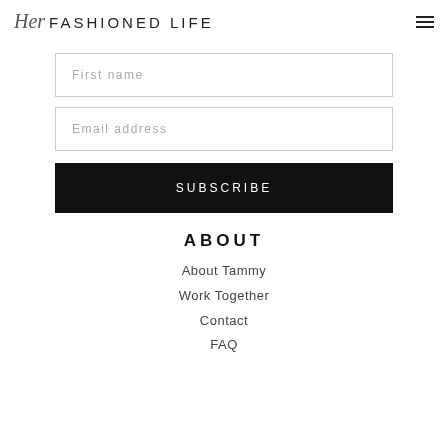Her FASHIONED LIFE
First name
Email address
SUBSCRIBE
ABOUT
About Tammy
Work Together
Contact
FAQ